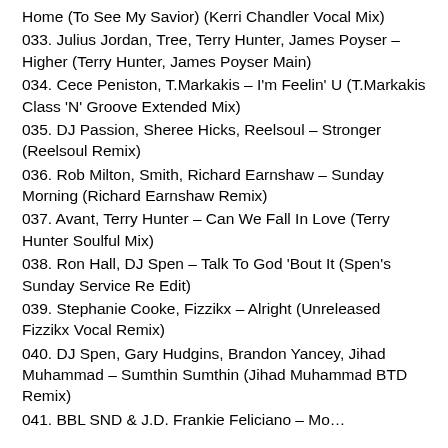Home (To See My Savior) (Kerri Chandler Vocal Mix)
033. Julius Jordan, Tree, Terry Hunter, James Poyser – Higher (Terry Hunter, James Poyser Main)
034. Cece Peniston, T.Markakis – I'm Feelin' U (T.Markakis Class 'N' Groove Extended Mix)
035. DJ Passion, Sheree Hicks, Reelsoul – Stronger (Reelsoul Remix)
036. Rob Milton, Smith, Richard Earnshaw – Sunday Morning (Richard Earnshaw Remix)
037. Avant, Terry Hunter – Can We Fall In Love (Terry Hunter Soulful Mix)
038. Ron Hall, DJ Spen – Talk To God 'Bout It (Spen's Sunday Service Re Edit)
039. Stephanie Cooke, Fizzikx – Alright (Unreleased Fizzikx Vocal Remix)
040. DJ Spen, Gary Hudgins, Brandon Yancey, Jihad Muhammad – Sumthin Sumthin (Jihad Muhammad BTD Remix)
041. BBL SND & J.D. Frankie Feliciano – Mo…